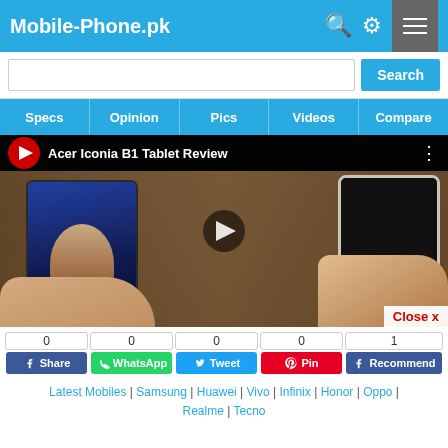Mobile-Phone.pk
Search
Specs | Opinion | Pics | Videos | Compare
[Figure (screenshot): YouTube video thumbnail for 'Acer Iconia B1 Tablet Review' showing a person holding a tablet with a face on screen and another tablet on the right, with a play button overlay]
Close x
0 Share | 0 WhatsApp | 0 Tweet | 0 Pin | 1 Recommend
Latest Mobiles | Samsung | Huawei | Vivo | Infinix | Honor | Oppo | Realme | Tecno